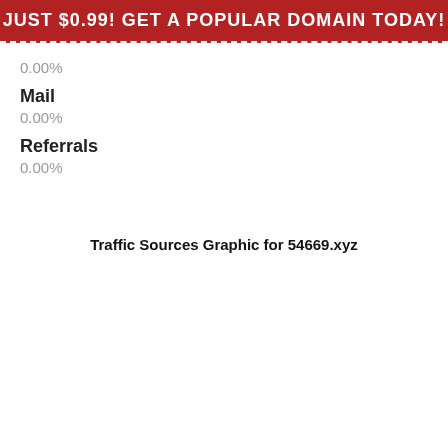JUST $0.99! GET A POPULAR DOMAIN TODAY!
0.00%
Mail
0.00%
Referrals
0.00%
Traffic Sources Graphic for 54669.xyz